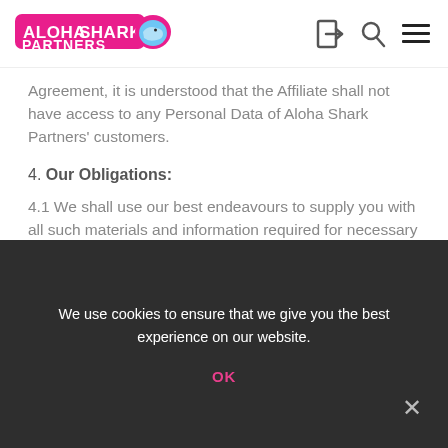Aloha Shark Partners [logo] [login icon] [search icon] [menu icon]
Agreement, it is understood that the Affiliate shall not have access to any Personal Data of Aloha Shark Partners' customers.
4. Our Obligations:
4.1 We shall use our best endeavours to supply you with all such materials and information required for necessary implementation of the Affiliate Links.
4.2 At our sole discretion, we may register any New Customers directed
We use cookies to ensure that we give you the best experience on our website.
OK